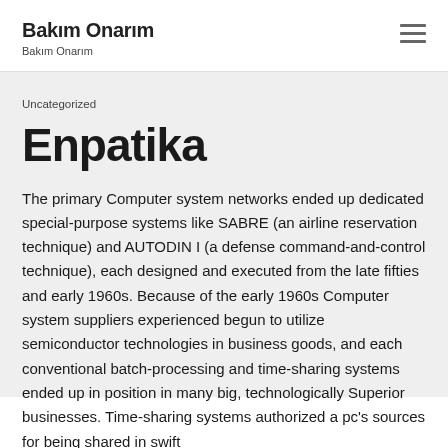Bakım Onarım
Bakım Onarım
Uncategorized
Enpatika
The primary Computer system networks ended up dedicated special-purpose systems like SABRE (an airline reservation technique) and AUTODIN I (a defense command-and-control technique), each designed and executed from the late fifties and early 1960s. Because of the early 1960s Computer system suppliers experienced begun to utilize semiconductor technologies in business goods, and each conventional batch-processing and time-sharing systems ended up in position in many big, technologically Superior businesses. Time-sharing systems authorized a pc's sources for being shared in swift